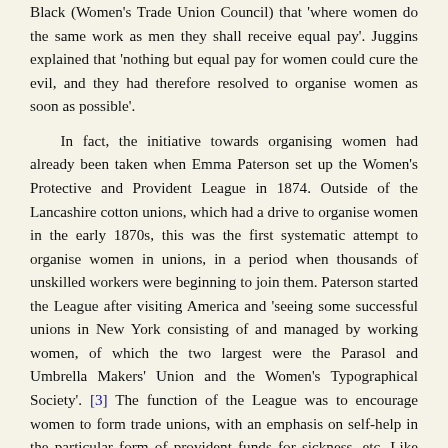Black (Women's Trade Union Council) that 'where women do the same work as men they shall receive equal pay'. Juggins explained that 'nothing but equal pay for women could cure the evil, and they had therefore resolved to organise women as soon as possible'.
In fact, the initiative towards organising women had already been taken when Emma Paterson set up the Women's Protective and Provident League in 1874. Outside of the Lancashire cotton unions, which had a drive to organise women in the early 1870s, this was the first systematic attempt to organise women in unions, in a period when thousands of unskilled workers were beginning to join them. Paterson started the League after visiting America and 'seeing some successful unions in New York consisting of and managed by working women, of which the two largest were the Parasol and Umbrella Makers' Union and the Women's Typographical Society'. [3] The function of the League was to encourage women to form trade unions, with an emphasis on self-help in the particular form of provident funds for sickness, etc. Like many of her contemporaries in the trade union movement, Paterson hated and discouraged strikes. Nonetheless, one of the League's earliest successes was to help a strike of women